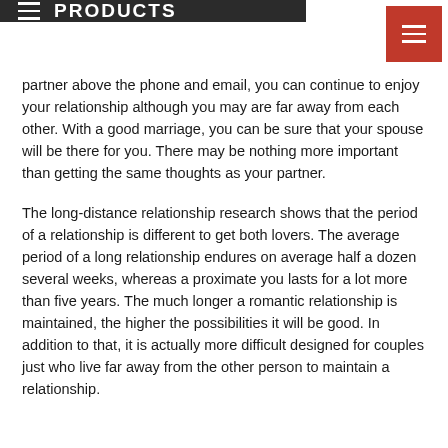PRODUCTS
partner above the phone and email, you can continue to enjoy your relationship although you may are far away from each other. With a good marriage, you can be sure that your spouse will be there for you. There may be nothing more important than getting the same thoughts as your partner.
The long-distance relationship research shows that the period of a relationship is different to get both lovers. The average period of a long relationship endures on average half a dozen several weeks, whereas a proximate you lasts for a lot more than five years. The much longer a romantic relationship is maintained, the higher the possibilities it will be good. In addition to that, it is actually more difficult designed for couples just who live far away from the other person to maintain a relationship.